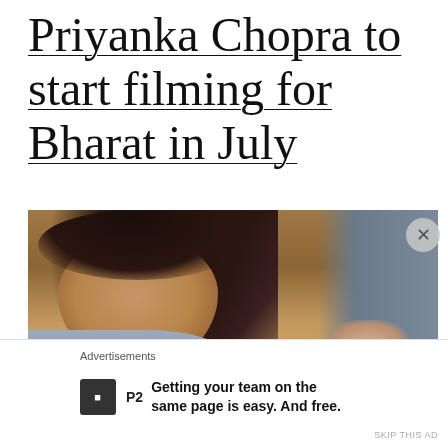Priyanka Chopra to start filming for Bharat in July
[Figure (photo): Priyanka Chopra seated at a desk or table, with dark wavy hair, wearing a grey top, looking intently. Another person in grey is visible in background.]
Advertisements
[Figure (logo): P2 app logo - dark square with P2 text]
Getting your team on the same page is easy. And free.